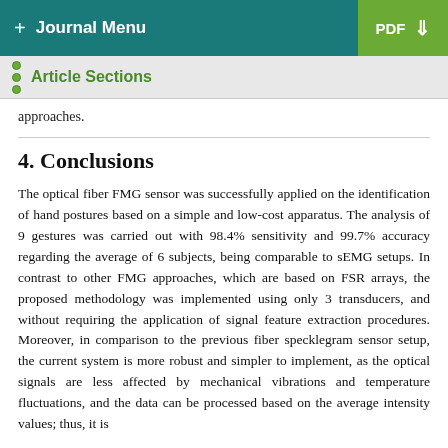+ Journal Menu   PDF ↓
Article Sections
approaches.
4. Conclusions
The optical fiber FMG sensor was successfully applied on the identification of hand postures based on a simple and low-cost apparatus. The analysis of 9 gestures was carried out with 98.4% sensitivity and 99.7% accuracy regarding the average of 6 subjects, being comparable to sEMG setups. In contrast to other FMG approaches, which are based on FSR arrays, the proposed methodology was implemented using only 3 transducers, and without requiring the application of signal feature extraction procedures. Moreover, in comparison to the previous fiber specklegram sensor setup, the current system is more robust and simpler to implement, as the optical signals are less affected by mechanical vibrations and temperature fluctuations, and the data can be processed based on the average intensity values; thus, it is